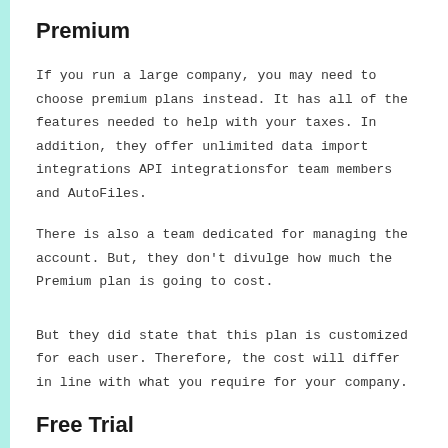Premium
If you run a large company, you may need to choose premium plans instead. It has all of the features needed to help with your taxes. In addition, they offer unlimited data import integrations API integrationsfor team members and AutoFiles.
There is also a team dedicated for managing the account. But, they don't divulge how much the Premium plan is going to cost.
But they did state that this plan is customized for each user. Therefore, the cost will differ in line with what you require for your company.
Free Trial